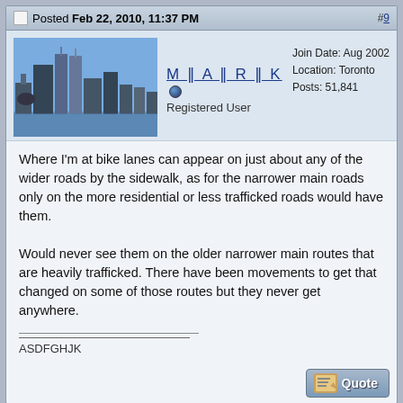Posted Feb 22, 2010, 11:37 PM #9
Join Date: Aug 2002
Location: Toronto
Posts: 51,841
M II A II R II K
Registered User
Where I'm at bike lanes can appear on just about any of the wider roads by the sidewalk, as for the narrower main roads only on the more residential or less trafficked roads would have them.

Would never see them on the older narrower main routes that are heavily trafficked. There have been movements to get that changed on some of those routes but they never get anywhere.
ASDFGHJK
Posted Feb 22, 2010, 11:55 PM #10
Join Date: Apr 2008
Location: America's Magic City
Posts: 3,810
SpawnOfVulcan
Cat Enthusiast